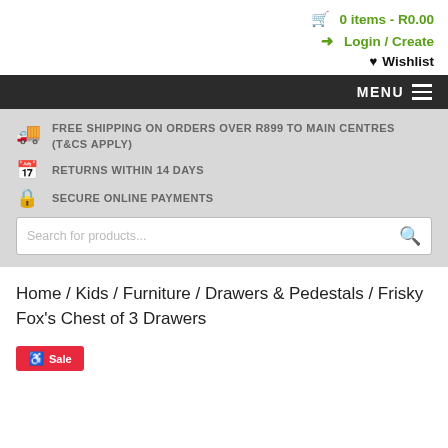0 items - R0.00
Login / Create
Wishlist
MENU
FREE SHIPPING ON ORDERS OVER R899 TO MAIN CENTRES (T&Cs Apply)
RETURNS WITHIN 14 DAYS
SECURE ONLINE PAYMENTS
Search for products...
Home / Kids / Furniture / Drawers & Pedestals / Frisky Fox's Chest of 3 Drawers
Sale